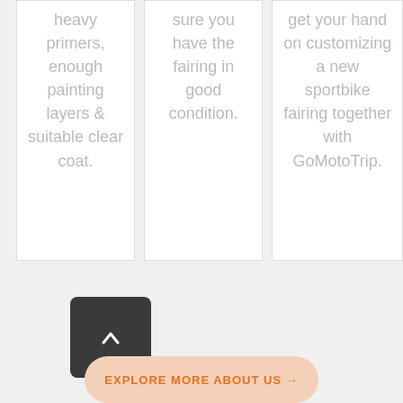heavy primers, enough painting layers & suitable clear coat.
sure you have the fairing in good condition.
get your hand on customizing a new sportbike fairing together with GoMotoTrip.
[Figure (other): Dark rounded square back/up button with a chevron arrow icon]
EXPLORE MORE ABOUT US →